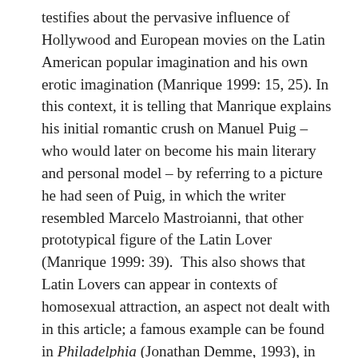testifies about the pervasive influence of Hollywood and European movies on the Latin American popular imagination and his own erotic imagination (Manrique 1999: 15, 25). In this context, it is telling that Manrique explains his initial romantic crush on Manuel Puig – who would later on become his main literary and personal model – by referring to a picture he had seen of Puig, in which the writer resembled Marcelo Mastroianni, that other prototypical figure of the Latin Lover (Manrique 1999: 39).  This also shows that Latin Lovers can appear in contexts of homosexual attraction, an aspect not dealt with in this article; a famous example can be found in Philadelphia (Jonathan Demme, 1993), in which the main [End Page 13] character Andrew Beckett (Tom Hanks) has a lover called Miguel Alvarez, interpreted by Antonio Banderas.